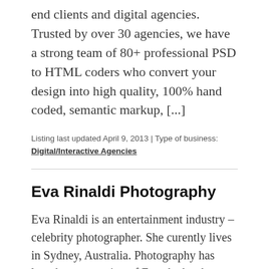end clients and digital agencies. Trusted by over 30 agencies, we have a strong team of 80+ professional PSD to HTML coders who convert your design into high quality, 100% hand coded, semantic markup, [...]
Listing last updated April 9, 2013 | Type of business: Digital/Interactive Agencies
Eva Rinaldi Photography
Eva Rinaldi is an entertainment industry – celebrity photographer. She curently lives in Sydney, Australia. Photography has long been a passion of Eva she has been making powerful images documenting children with hdurt...